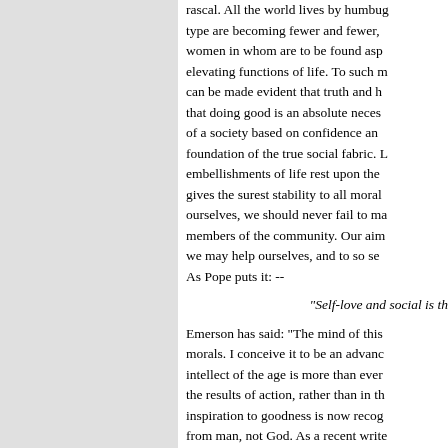rascal. All the world lives by humbug type are becoming fewer and fewer, women in whom are to be found asp elevating functions of life. To such m can be made evident that truth and h that doing good is an absolute neces of a society based on confidence an foundation of the true social fabric. L embellishments of life rest upon the gives the surest stability to all moral ourselves, we should never fail to ma members of the community. Our aim we may help ourselves, and to so se As Pope puts it: --
"Self-love and social is th
Emerson has said: "The mind of this morals. I conceive it to be an advanc intellect of the age is more than ever the results of action, rather than in th inspiration to goodness is now recog from man, not God. As a recent write arbitrary personal God which ennobl